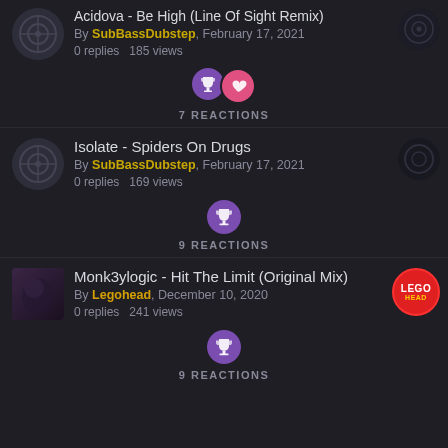Acidova - Be High (Line Of Sight Remix)
By SubBassDubstep, February 17, 2021
0 replies   185 views
7 REACTIONS
Isolate - Spiders On Drugs
By SubBassDubstep, February 17, 2021
0 replies   169 views
9 REACTIONS
Monk3ylogic - Hit The Limit (Original Mix)
By Legohead, December 10, 2020
0 replies   241 views
9 REACTIONS